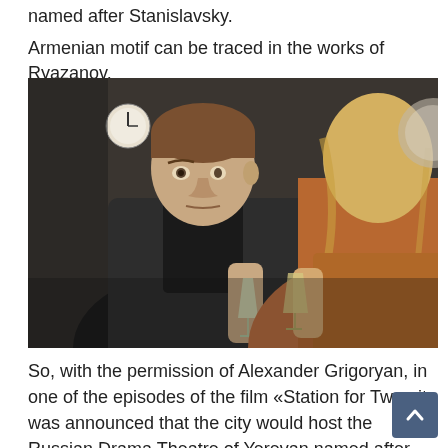named after Stanislavsky.
Armenian motif can be traced in the works of Ryazanov.
[Figure (photo): A man in a dark turtleneck and jacket holds a champagne flute and looks at a blonde woman (seen from behind) who is also holding a champagne glass. They appear to be at an indoor gathering. A clock is visible in the background.]
So, with the permission of Alexander Grigoryan, in one of the episodes of the film «Station for Two» it was announced that the city would host the Russian Drama Theatre of Yerevan named after Stanislavsky.